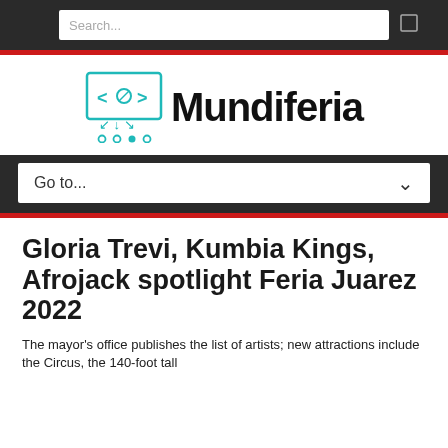Search...
[Figure (logo): Mundiferia logo with teal circuit/code icon and bold black wordmark 'Mundiferia']
Go to...
Gloria Trevi, Kumbia Kings, Afrojack spotlight Feria Juarez 2022
The mayor's office publishes the list of artists; new attractions include the Circus, the 140-foot tall